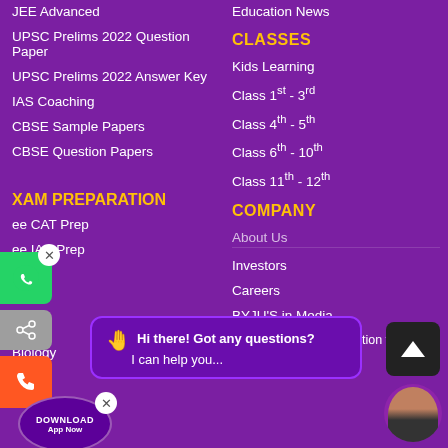JEE Advanced
UPSC Prelims 2022 Question Paper
UPSC Prelims 2022 Answer Key
IAS Coaching
CBSE Sample Papers
CBSE Question Papers
Education News
CLASSES
Kids Learning
Class 1st - 3rd
Class 4th - 5th
Class 6th - 10th
Class 11th - 12th
EXAM PREPARATION
COMPANY
Free CAT Prep
Free IAS Prep
Maths
About Us
Investors
Careers
BYJU'S in Media
Social Initiative - Education for All
Chemistry
Biology